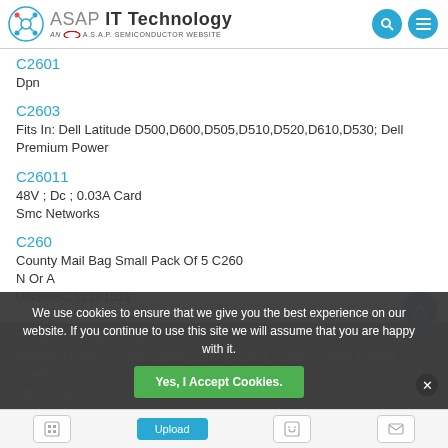ASAP IT Technology — AN A.S.A.P. SEMICONDUCTOR WEBSITE
C2601
Dpn
C2603
Fits In: Dell Latitude D500,D600,D505,D510,D520,D610,D530; Dell Premium Power
C26011
48V ; Dc ; 0.03A Card
Smc Networks
C260
County Mail Bag Small Pack Of 5 C260
N Or A
UNSPSC 52161512
C2600 C2606 C2800 C2
Huawei C2600 C2606 C2800 C2800 C2607 C2400 C2479 C2605 C2900 Bgi
3Rd Party
We use cookies to ensure that we give you the best experience on our website. If you continue to use this site we will assume that you are happy with it.